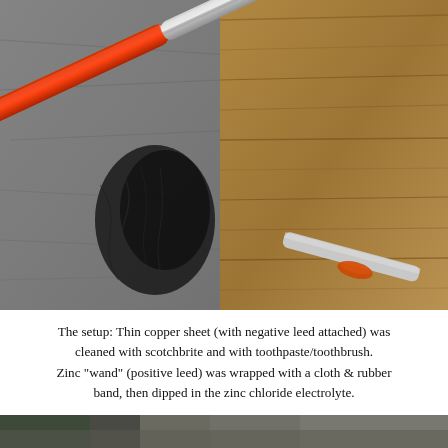[Figure (photo): Close-up photo of a zinc wand (metal cylindrical tool with red handle) and a copper sheet on a rough surface. The zinc wand is wrapped with a cloth and rubber band near its tip. A dark area of residue is visible on the surface between the two electrodes.]
The setup: Thin copper sheet (with negative leed attached) was cleaned with scotchbrite and with toothpaste/toothbrush. Zinc "wand" (positive leed) was wrapped with a cloth & rubber band, then dipped in the zinc chloride electrolyte.
[Figure (photo): Partial photo at the bottom of the page showing the beginning of another experimental setup image.]